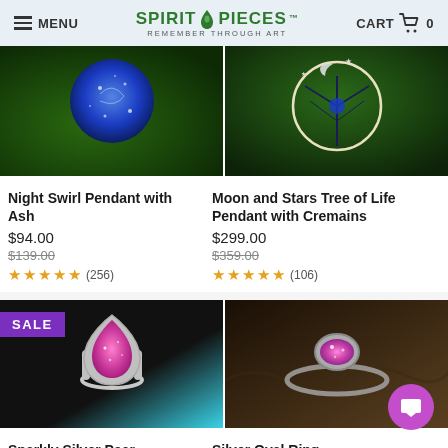MENU | SPIRIT PIECES - REMEMBER THROUGH ART | CART 0
[Figure (photo): Close-up of blue Night Swirl Pendant with glitter on green nature background]
Night Swirl Pendant with Ash
$94.00
$139.00
★★★★★ (256)
[Figure (photo): Moon and Stars Tree of Life Pendant with Cremains on green nature background]
Moon and Stars Tree of Life Pendant with Cremains
$299.00
$359.00
★★★★★ (106)
[Figure (photo): Sparkly Silver Pear Cremation Ring with pink/purple glitter on teal/black background, SALE badge]
Sparkly Silver Pear Cremation Ring
[Figure (photo): Silver Oval Ring with pink/purple resin on rocky nature background]
Silver Oval Ring
$94.00